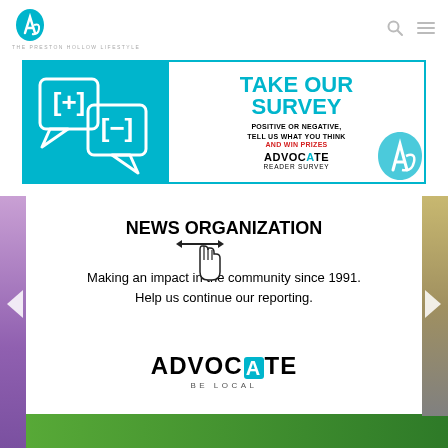THE PRESTON HOLLOW LIFESTYLE
[Figure (infographic): Take Our Survey banner ad. Shows [+] and [-] speech bubble icons in teal. Text: TAKE OUR SURVEY POSITIVE OR NEGATIVE, TELL US WHAT YOU THINK AND WIN PRIZES ADVOCATE READER SURVEY]
NEWS ORGANIZATION
Making an impact in the community since 1991. Help us continue our reporting.
[Figure (logo): ADVOCATE BE LOCAL logo in bold black text]